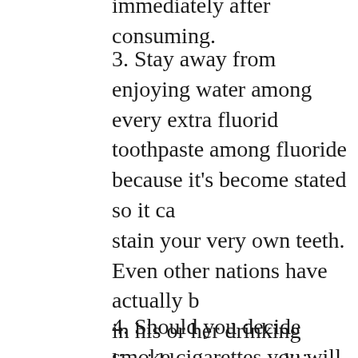immediately after consuming.
3. Stay away from enjoying water among every extra fluorid toothpaste among fluoride because it's become stated so it ca stain your very own teeth. Even other nations have actually b in his or her drinking liquid because conditions and signs tha associated with it.
4. Should you decide smoke cigarettes you will need to cut d feasible additionally of course things s better concerning you medical in order to quit cigarette entirely as you no doubt fin smokers enjoy one harder time period keeping specific teeth cigarette smokers so that you've probably to function difficu
5. Coffee to tea tend to be notorious concerning triggering te Remember to sip or maybe wash your lips using h2o when y coffee otherwise tea additionally immediately following you plus wine may influence spots on the teeth.
6. Most fresh fruits including strawberries are outstanding to Strawberries are rubbed on the teeth or mashed up inside a m